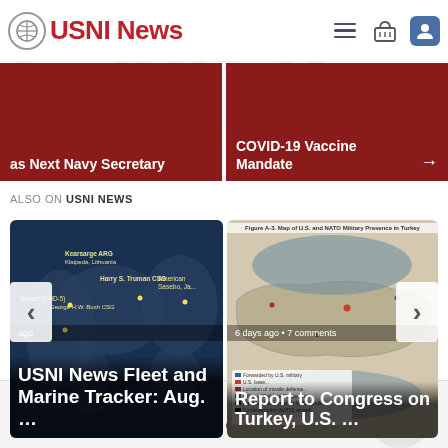USNI News
[Figure (screenshot): Banner: as Next Navy Secretary]
[Figure (screenshot): Banner: COVID-19 Vaccine Mandate →]
ALSO ON USNI NEWS
[Figure (map): USNI News Fleet and Marine Tracker: Aug. ... — world map showing ship positions including Kearsarge ARG, Klaipeda Lithuania, Harry S. Truman CSG, American Sasebo, George H.W. Bush CSG, Bataan (LHD-5)]
[Figure (map): Report to Congress on Turkey, U.S. ... — Figure A-3. Map of U.S. and NATO Military Presence in Turkey, 6 days ago • 7 comments]
USNI News Comment Policy
Please be thoughtful and respectful of others.